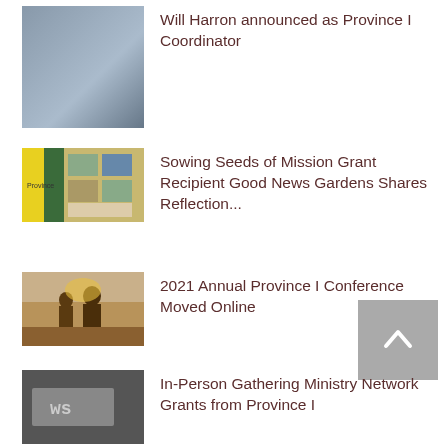[Figure (photo): Headshot of a man with a beard and glasses wearing a suit]
Will Harron announced as Province I Coordinator
[Figure (photo): Brochure or flyer collage with green and yellow colors]
Sowing Seeds of Mission Grant Recipient Good News Gardens Shares Reflection...
[Figure (photo): Silhouette of people at sunset or sunrise outdoors]
2021 Annual Province I Conference Moved Online
[Figure (photo): Dark image with text or logo reading 'ws']
In-Person Gathering Ministry Network Grants from Province I